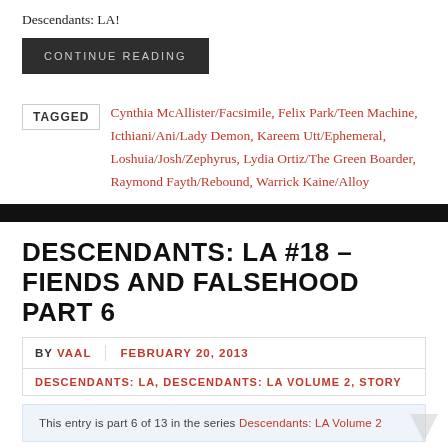Descendants: LA!
CONTINUE READING
TAGGED Cynthia McAllister/Facsimile, Felix Park/Teen Machine, Icthiani/Ani/Lady Demon, Kareem Utt/Ephemeral, Loshuia/Josh/Zephyrus, Lydia Ortiz/The Green Boarder, Raymond Fayth/Rebound, Warrick Kaine/Alloy
DESCENDANTS: LA #18 – FIENDS AND FALSEHOOD PART 6
BY VAAL | FEBRUARY 20, 2013
DESCENDANTS: LA, DESCENDANTS: LA VOLUME 2, STORY
This entry is part 6 of 13 in the series Descendants: LA Volume 2